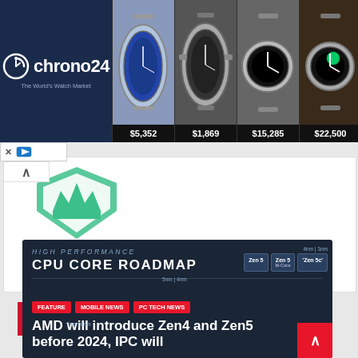[Figure (screenshot): Chrono24 watch advertisement banner with logo on left and four watch images with prices: $5,352, $1,869, $15,285, $22,500]
[Figure (logo): Green crown/diamond shield avatar logo]
RELATED POST
[Figure (screenshot): Article card with dark background showing 'HIGH PERFORMANCE CPU CORE ROADMAP' with Zen chip graphics, tags FEATURE, MOBILE NEWS, PC TECH NEWS, and headline 'AMD will introduce Zen4 and Zen5 before 2024, IPC will']